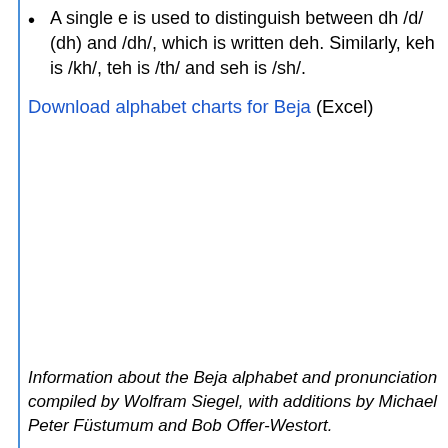A single e is used to distinguish between dh /d/ (dh) and /dh/, which is written deh. Similarly, keh is /kh/, teh is /th/ and seh is /sh/.
Download alphabet charts for Beja (Excel)
Information about the Beja alphabet and pronunciation compiled by Wolfram Siegel, with additions by Michael Peter Füstumum and Bob Offer-Westort.